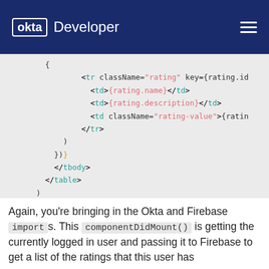okta Developer
[Figure (screenshot): Code block showing JSX/React code with tr, td elements, className attributes, closing tags for tbody and table, and an export default withAuth(RatingsListPage); statement]
Again, you’re bringing in the Okta and Firebase imports. This componentDidMount() is getting the currently logged in user and passing it to Firebase to get a list of the ratings that this user has